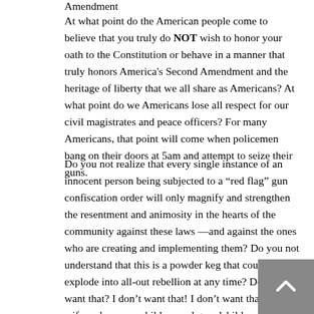Amendment
At what point do the American people come to believe that you truly do NOT wish to honor your oath to the Constitution or behave in a manner that truly honors America's Second Amendment and the heritage of liberty that we all share as Americans? At what point do we Americans lose all respect for our civil magistrates and peace officers? For many Americans, that point will come when policemen bang on their doors at 5am and attempt to seize their guns.
Do you not realize that every single instance of an innocent person being subjected to a “red flag” gun confiscation order will only magnify and strengthen the resentment and animosity in the hearts of the community against these laws—and against the ones who are creating and implementing them? Do you not understand that this is a powder keg that could explode into all-out rebellion at any time? Do you want that? I don’t want that! I don’t want that for my wife and me, my children and grandchildren, my friends or my community.